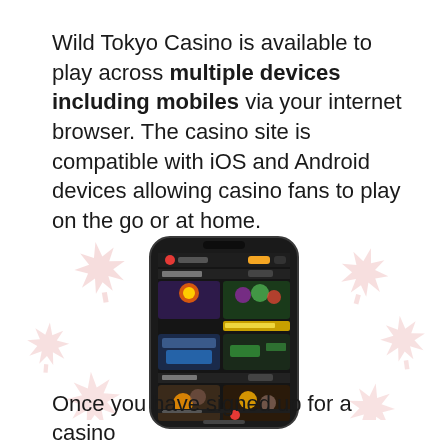Wild Tokyo Casino is available to play across multiple devices including mobiles via your internet browser. The casino site is compatible with iOS and Android devices allowing casino fans to play on the go or at home.
[Figure (screenshot): A smartphone displaying the Wild Tokyo Casino mobile website, showing a dark-themed casino interface with slots games. Decorative pink maple leaf watermarks appear in the background around the phone.]
Once you have signed up for a casino